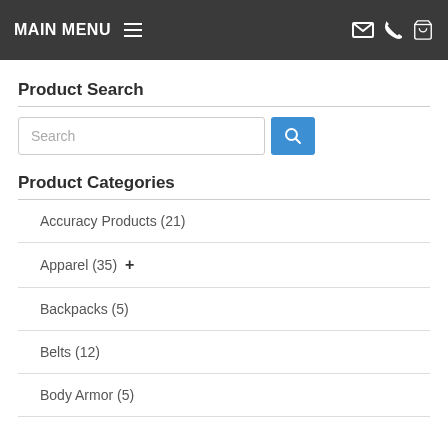MAIN MENU
Product Search
Search
Product Categories
Accuracy Products (21)
Apparel (35) +
Backpacks (5)
Belts (12)
Body Armor (5)